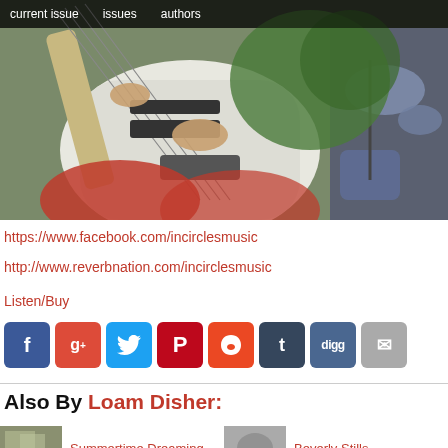current issue   issues   authors
[Figure (photo): Band photo showing a person playing a white electric bass guitar in red clothing, with greenery in background and drums visible on the right side.]
https://www.facebook.com/incirclesmusic
http://www.reverbnation.com/incirclesmusic
Listen/Buy
[Figure (infographic): Row of social media share icons: Facebook, Google+, Twitter, Pinterest, StumbleUpon, Tumblr, Digg, Email]
Also By Loam Disher:
Summertime Dreaming
Beverly Stills